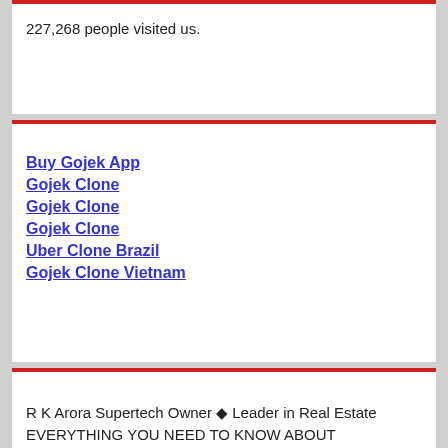227,268 people visited us.
Buy Gojek App
Gojek Clone
Gojek Clone
Gojek Clone
Uber Clone Brazil
Gojek Clone Vietnam
R K Arora Supertech Owner ◆ Leader in Real Estate
EVERYTHING YOU NEED TO KNOW ABOUT LIFESTYLES UNLIMITED
Types of Boots For Men & Styling Tips